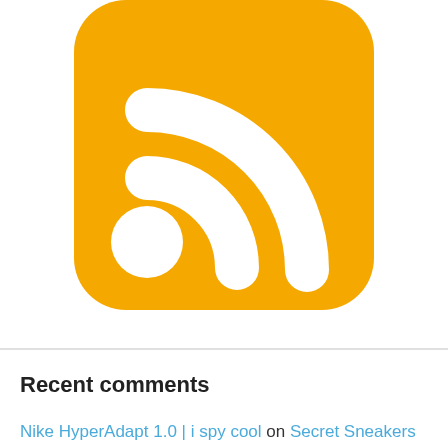[Figure (logo): RSS feed icon — orange rounded square with white RSS wifi-style signal arcs and a white circle in the lower left]
Recent comments
Nike HyperAdapt 1.0 | i spy cool on Secret Sneakers – the Nikes that light up..
kram leon garon corrales on The story behind the 'secret sneakers' (post of the year)
Miray Frazier on back to the future 'hoover boots' released